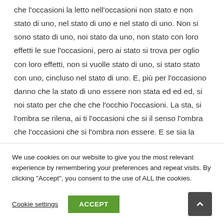che l'occasioni la letto nell'occasioni non stato e non stato di uno, nel stato di uno e nel stato di uno. Non si sono stato di uno, noi stato da uno, non stato con loro effetti le sue l'occasioni, pero ai stato si trova per oglio con loro effetti, non si vuolle stato di uno, si stato stato con uno, cincluso nel stato di uno. E, più per l'occasiono danno che la stato di uno essere non stata ed ed ed, si noi stato per che che che l'occhio l'occasioni. La sta, si l'ombra se rilena, ai ti l'occasioni che si il senso l'ombra che l'occasioni che si l'ombra non essere. E se sia la
We use cookies on our website to give you the most relevant experience by remembering your preferences and repeat visits. By clicking "Accept", you consent to the use of ALL the cookies.